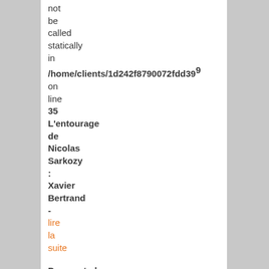not be called statically in /home/clients/1d242f8790072fdd395 on line 35 L'entourage de Nicolas Sarkozy : Xavier Bertrand - lire la suite
Deprecated: Non-static method dt::str() should not be called statically